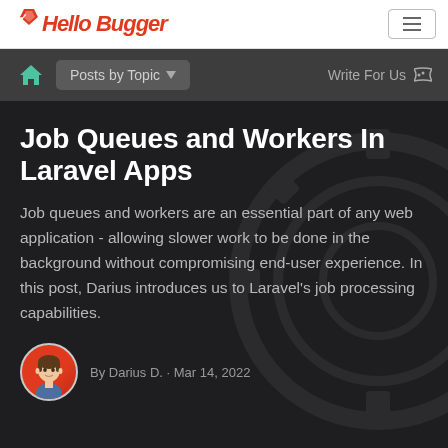Hello Bugger – Posts by Topic | Write For Us
Job Queues and Workers In Laravel Apps
Job queues and workers are an essential part of any web application - allowing slower work to be done in the background without compromising end-user experience. In this post, Darius introduces us to Laravel's job processing capabilities.
By Darius D. · Mar 14, 2022